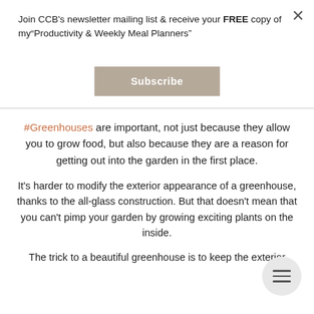Join CCB's newsletter mailing list & receive your FREE copy of my"Productivity & Weekly Meal Planners"
Subscribe
#Greenhouses are important, not just because they allow you to grow food, but also because they are a reason for getting out into the garden in the first place.
It's harder to modify the exterior appearance of a greenhouse, thanks to the all-glass construction. But that doesn't mean that you can't pimp your garden by growing exciting plants on the inside.
The trick to a beautiful greenhouse is to keep the exterior